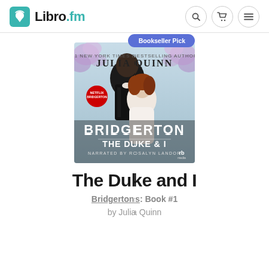Libro.fm
[Figure (illustration): Audiobook cover for 'Bridgerton: The Duke & I' by Julia Quinn, narrated by Rosalyn Landor. Shows two people — a man in a dark suit and a woman with red hair — against a floral garden background. A Netflix Bridgerton badge and rb media logo are visible. A blue 'Bookseller Pick' badge appears above the cover.]
The Duke and I
Bridgertons: Book #1
by Julia Quinn